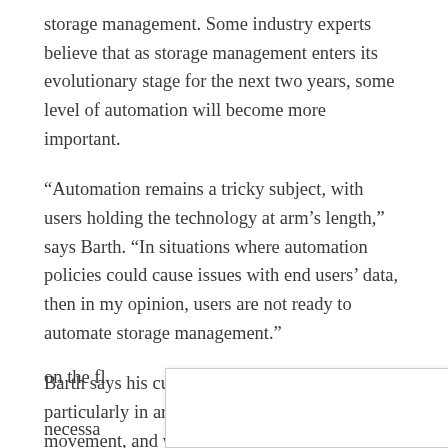storage management. Some industry experts believe that as storage management enters its evolutionary stage for the next two years, some level of automation will become more important.
“Automation remains a tricky subject, with users holding the technology at arm’s length,” says Barth. “In situations where automation policies could cause issues with end users’ data, then in my opinion, users are not ready to automate storage management.”
Barth says his customers are “risk averse,” particularly in areas such as file deletion, movement, and volume resizing on the fl… [partially obscured] necessa… [partially obscured] ate